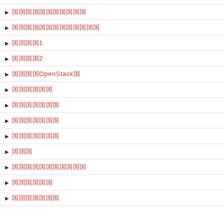▶ 国国国国国国国国国国国
▶ 国国国国国国国国国国国国国
▶ 国国国国1
▶ 国国国国2
▶ 国国国国OpenStack国
▶ 国国国国国国
▶ 国国国国国国国
▶ 国国国国国国国
▶ 国国国国国国国
▶ 国国国
▶ 国国国国国国国国国国国
▶ 国国国国国国
▶ 国国国国国国国